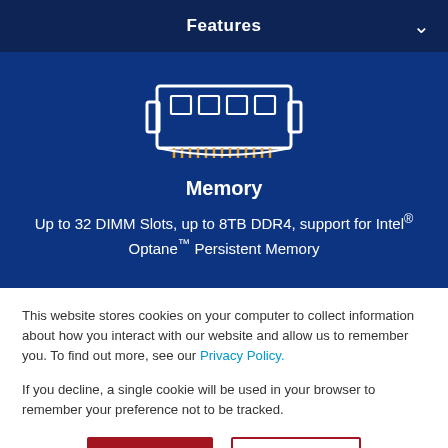Features
[Figure (illustration): Icon of a RAM memory DIMM module outline in white with gold/yellow contact pins on the bottom, on a dark blue background]
Memory
Up to 32 DIMM Slots, up to 8TB DDR4, support for Intel® Optane™ Persistent Memory
This website stores cookies on your computer to collect information about how you interact with our website and allow us to remember you. To find out more, see our Privacy Policy.
If you decline, a single cookie will be used in your browser to remember your preference not to be tracked.